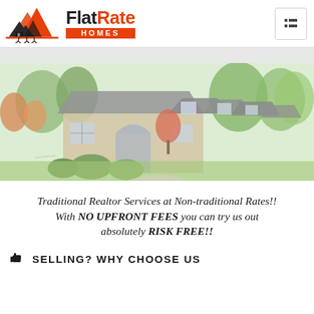[Figure (logo): FlatRate Homes logo with house/mountain graphic and orange 'HOMES' bar]
[Figure (photo): Hero photo of large suburban house with green trees, autumn colors, and driveway]
Traditional Realtor Services at Non-traditional Rates!! With NO UPFRONT FEES you can try us out absolutely RISK FREE!!
SELLING? WHY CHOOSE US